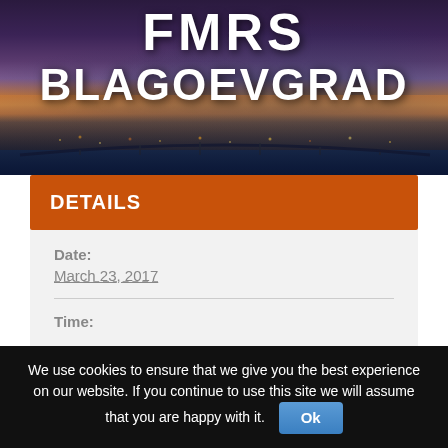[Figure (photo): Header banner showing cityscape of Blagoevgrad at night with bridge and lights, with text 'FMRS' and 'BLAGOEVGRAD' overlaid in white bold letters]
FMRS
BLAGOEVGRAD
DETAILS
Date:
March 23, 2017
Time:
We use cookies to ensure that we give you the best experience on our website. If you continue to use this site we will assume that you are happy with it.  Ok